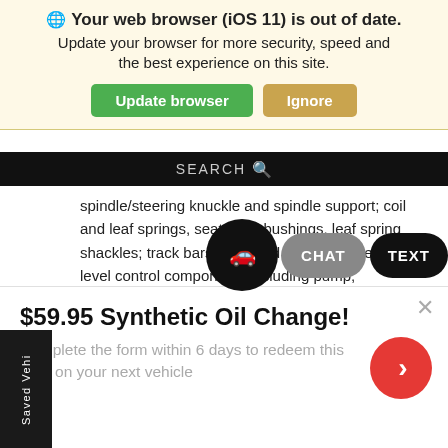🌐 Your web browser (iOS 11) is out of date. Update your browser for more security, speed and the best experience on this site.
[Figure (screenshot): Browser update banner with 'Update browser' green button and 'Ignore' tan button]
[Figure (screenshot): Black search bar with SEARCH text and magnifier icon]
spindle/steering knuckle and spindle support; coil and leaf springs, seats and bushings, leaf spring shackles; track bars, links and bushings; electronic level control components including pump, accumulator, lines, bags; stabilizer bar, links and bushings.
ruise control module, servo, cables and switches; instrument uster including speedometer, odometer, tachometer and all auges, warning indicators, lar nic
[Figure (screenshot): Bottom toolbar with car icon, CHAT button, and TEXT button]
Saved Vehi
$59.95 Synthetic Oil Change!
Complete the form within 6 days to redeem this offer on your next vehicle